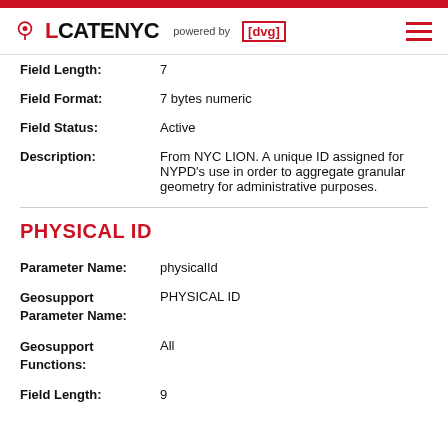LOCATENYC powered by [dvg]
| Field | Value |
| --- | --- |
| Field Length: | 7 |
| Field Format: | 7 bytes numeric |
| Field Status: | Active |
| Description: | From NYC LION. A unique ID assigned for NYPD's use in order to aggregate granular geometry for administrative purposes. |
PHYSICAL ID
| Field | Value |
| --- | --- |
| Parameter Name: | physicalId |
| Geosupport Parameter Name: | PHYSICAL ID |
| Geosupport Functions: | All |
| Field Length: | 9 |